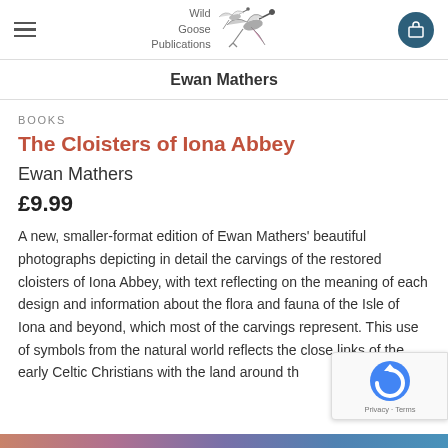Wild Goose Publications [logo with crane birds]
Ewan Mathers
BOOKS
The Cloisters of Iona Abbey
Ewan Mathers
£9.99
A new, smaller-format edition of Ewan Mathers' beautiful photographs depicting in detail the carvings of the restored cloisters of Iona Abbey, with text reflecting on the meaning of each design and information about the flora and fauna of the Isle of Iona and beyond, which most of the carvings represent. This use of symbols from the natural world reflects the close links of the early Celtic Christians with the land around th